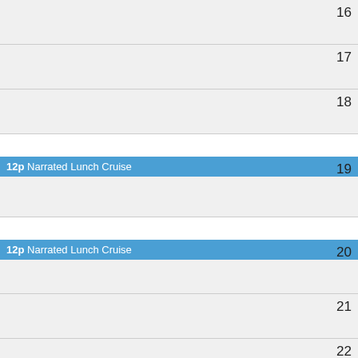| 16 |  |
| 17 |  |
| 18 |  |
| 19 | 12p Narrated Lunch Cruise |
| 20 | 12p Narrated Lunch Cruise |
| 21 |  |
| 22 |  |
| 23 | 12p Narrated Lunch Cruise |
| 24 |  |